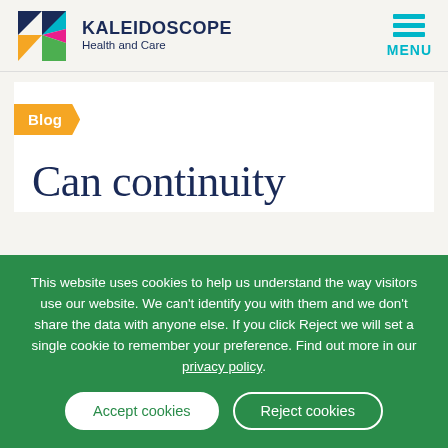[Figure (logo): Kaleidoscope Health and Care logo with colorful K lettermark and MENU icon]
Blog
Can continuity
This website uses cookies to help us understand the way visitors use our website. We can't identify you with them and we don't share the data with anyone else. If you click Reject we will set a single cookie to remember your preference. Find out more in our privacy policy.